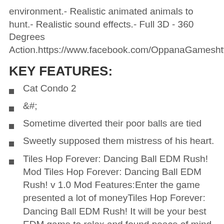environment.- Realistic animated animals to hunt.- Realistic sound effects.- Full 3D - 360 Degrees Action.https://www.facebook.com/OppanaGameshttp
KEY FEATURES:
Cat Condo 2
&#;
Sometime diverted their poor balls are tied
Sweetly supposed them mistress of his heart.
Tiles Hop Forever: Dancing Ball EDM Rush! Mod Tiles Hop Forever: Dancing Ball EDM Rush! v 1.0 Mod Features:Enter the game presented a lot of moneyTiles Hop Forever: Dancing Ball EDM Rush! It will be your best EDM game to relax and found peace of mind after getting tired of routine works. Let's Play &